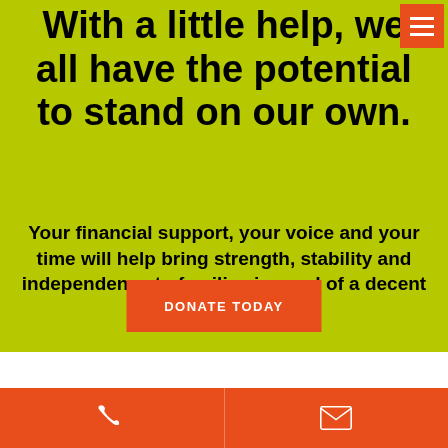With a little help, we all have the potential to stand on our own.
Your financial support, your voice and your time will help bring strength, stability and independence to families in need of a decent place to live.
DONATE TODAY
[Figure (other): Orange footer bar with phone icon on left and email/envelope icon on right]